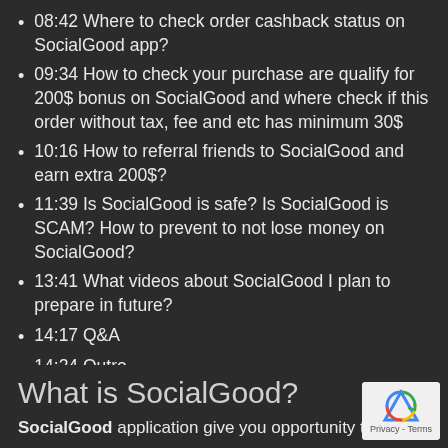08:42 Where to check order cashback status on SocialGood app?
09:34 How to check your purchase are qualify for 200$ bonus on SocialGood and where check if this order without tax, fee and etc has minimum 30$
10:16 How to referral friends to SocialGood and earn extra 200$?
11:39 Is SocialGood is safe? Is SocialGood is SCAM? How to prevent to not lose money on SocialGood?
13:41 What videos about SocialGood I plan to prepare in future?
14:17 Q&A
14:24 Outro
What is SocialGood?
SocialGood application give you opportunity to ma...